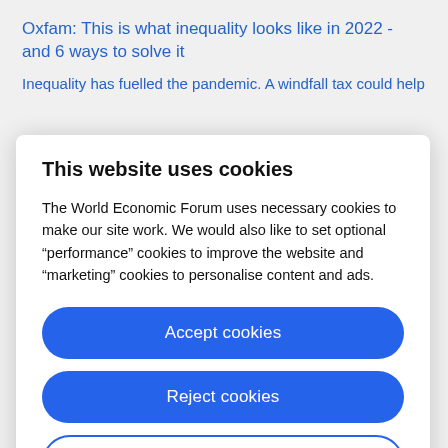Oxfam: This is what inequality looks like in 2022 - and 6 ways to solve it
Inequality has fuelled the pandemic. A windfall tax could help
This website uses cookies
The World Economic Forum uses necessary cookies to make our site work. We would also like to set optional “performance” cookies to improve the website and “marketing” cookies to personalise content and ads.
Accept cookies
Reject cookies
Cookie settings